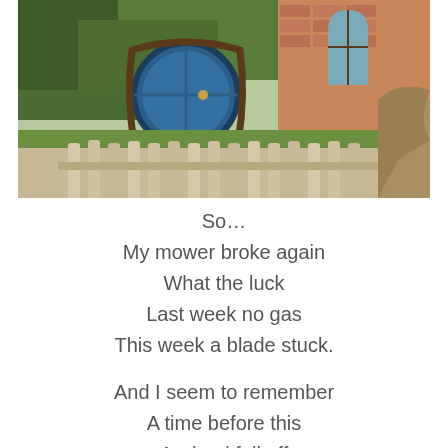[Figure (photo): A hobbit-hole style round blue door set into a grassy hillside with brick masonry visible to the right, lush green foliage surroundings, and a white picket fence in the foreground. Sunny outdoor scene reminiscent of Hobbiton from Lord of the Rings.]
So...
My mower broke again
What the luck
Last week no gas
This week a blade stuck.

And I seem to remember
A time before this
A wheel fell off
And fell in the ditch.